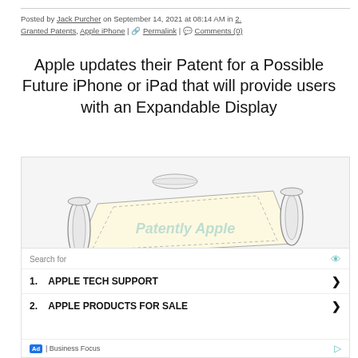Posted by Jack Purcher on September 14, 2021 at 08:14 AM in 2. Granted Patents, Apple iPhone | Permalink | Comments (0)
Apple updates their Patent for a Possible Future iPhone or iPad that will provide users with an Expandable Display
[Figure (illustration): Patent illustration of a scroll-like expandable display device with two cylindrical rollers on each side and a flat flexible screen panel in the center, with dashed lines indicating the expandable area. Watermark reads 'Patently Apple'.]
Search for
1.  APPLE TECH SUPPORT
2.  APPLE PRODUCTS FOR SALE
Ad | Business Focus